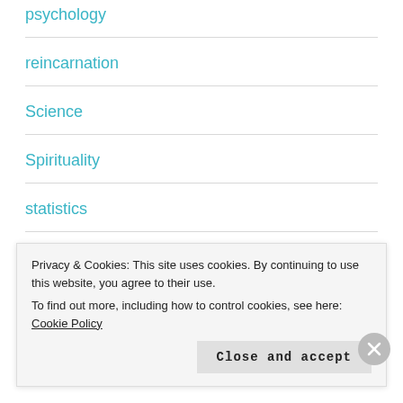psychology
reincarnation
Science
Spirituality
statistics
Travel
Uncategorized
Privacy & Cookies: This site uses cookies. By continuing to use this website, you agree to their use.
To find out more, including how to control cookies, see here: Cookie Policy
Close and accept